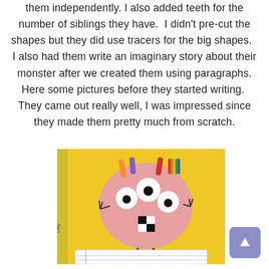them independently. I also added teeth for the number of siblings they have. I didn't pre-cut the shapes but they did use tracers for the big shapes. I also had them write an imaginary story about their monster after we created them using paragraphs. Here some pictures before they started writing. They came out really well, I was impressed since they made them pretty much from scratch.
[Figure (photo): A hand-crafted pink monster face on yellow paper. The monster has three white eyes with black pupils, colorful (orange, purple, red, rainbow) hair-like paper strips on top, small claw-like hands on each side, a checkered black and white mouth/nose, and two thin legs at the bottom. Below the monster figure is a lined writing page attached to the yellow paper. The background shows a classroom or desk setting.]